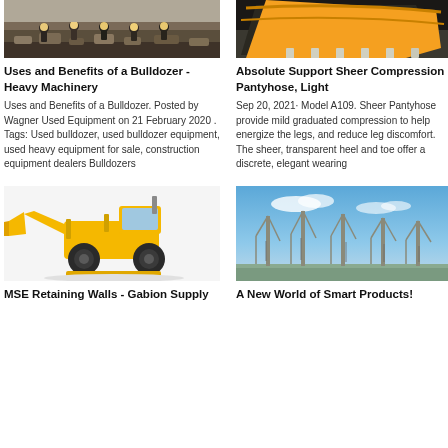[Figure (photo): People in hard hats near rubble/construction site viewed from behind]
Uses and Benefits of a Bulldozer - Heavy Machinery
Uses and Benefits of a Bulldozer. Posted by Wagner Used Equipment on 21 February 2020 . Tags: Used bulldozer, used bulldozer equipment, used heavy equipment for sale, construction equipment dealers Bulldozers
[Figure (photo): Close-up of an excavator/digger bucket teeth against a background]
Absolute Support Sheer Compression Pantyhose, Light
Sep 20, 2021· Model A109. Sheer Pantyhose provide mild graduated compression to help energize the legs, and reduce leg discomfort. The sheer, transparent heel and toe offer a discrete, elegant wearing
[Figure (photo): Yellow bulldozer / wheel loader on white background]
[Figure (photo): Multiple construction cranes against a blue sky]
MSE Retaining Walls - Gabion Supply
A New World of Smart Products!